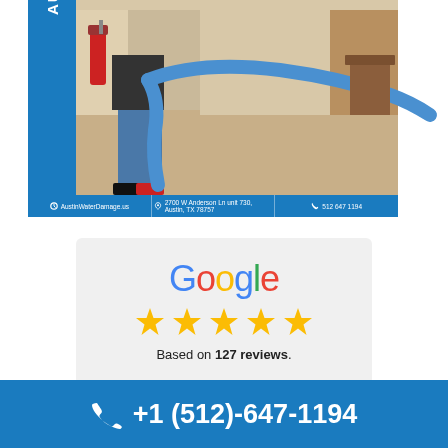[Figure (photo): Austin Water Damage logo on blue sidebar with a photo of a worker holding a blue hose in a carpeted hallway, with a red fire extinguisher visible on the wall. Info bar below shows website AustinWaterDamage.us, address 2700 W Anderson Ln unit 730, Austin, TX 78757, and phone 512 647 1194.]
[Figure (infographic): Google five-star review badge on light gray background. Shows Google logo in multicolor, five gold stars, and text 'Based on 127 reviews.']
Based on 127 reviews.
+1 (512)-647-1194